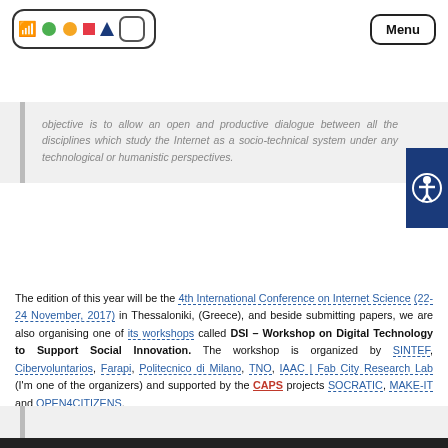Menu
objective is to allow an open and productive dialogue between all the disciplines which study the Internet as a socio-technical system under any technological or humanistic perspectives.
The edition of this year will be the 4th International Conference on Internet Science (22-24 November, 2017) in Thessaloniki, (Greece), and beside submitting papers, we are also organising one of its workshops called DSI – Workshop on Digital Technology to Support Social Innovation. The workshop is organized by SINTEF, Cibervoluntarios, Farapi, Politecnico di Milano, TNO, IAAC | Fab City Research Lab (I'm one of the organizers) and supported by the CAPS projects SOCRATIC, MAKE-IT and OPEN4CITIZENS.